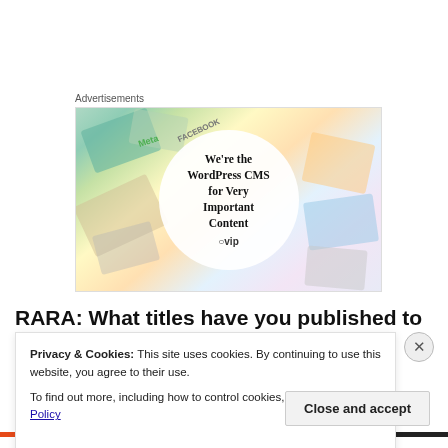Advertisements
[Figure (illustration): WordPress VIP advertisement banner showing 'We're the WordPress CMS for Very Important Content' with WordPress VIP logo, surrounded by colorful cards/tiles showing Meta, Facebook and other brand names.]
RARA: What titles have you published to date?
Privacy & Cookies: This site uses cookies. By continuing to use this website, you agree to their use.
To find out more, including how to control cookies, see here: Cookie Policy
Close and accept